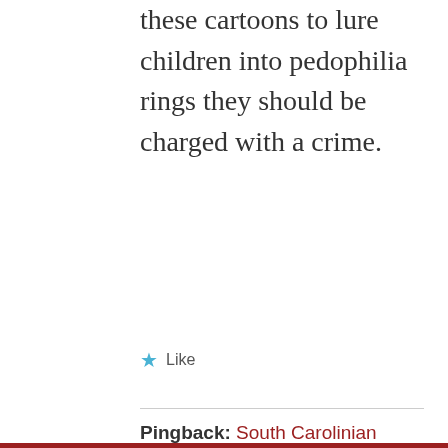these cartoons to lure children into pedophilia rings they should be charged with a crime.
Like
Pingback: South Carolinian Convicted in Canada for Cartoon 'Child Porn' - Adult Industry Network